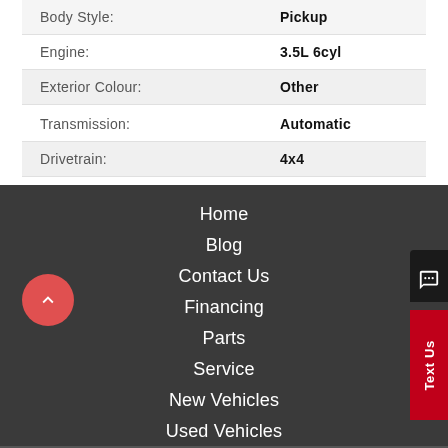| Label | Value |
| --- | --- |
| Body Style: | Pickup |
| Engine: | 3.5L 6cyl |
| Exterior Colour: | Other |
| Transmission: | Automatic |
| Drivetrain: | 4x4 |
| Stock #: | T220248A |
| City: | Dawson Creek |
604-792-8218
Home
Blog
Contact Us
Financing
Parts
Service
New Vehicles
Used Vehicles